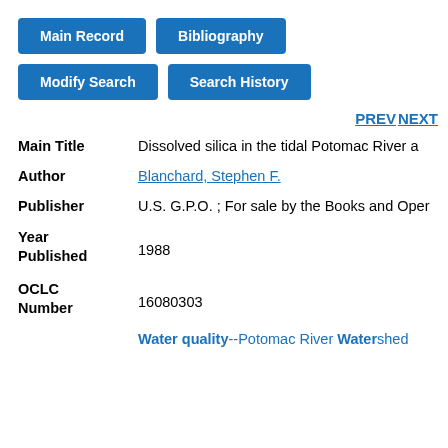Main Record | Bibliography
Modify Search | Search History
PREV NEXT
| Field | Value |
| --- | --- |
| Main Title | Dissolved silica in the tidal Potomac River a |
| Author | Blanchard, Stephen F. |
| Publisher | U.S. G.P.O. ; For sale by the Books and Oper |
| Year Published | 1988 |
| OCLC Number | 16080303 |
|  | Water quality--Potomac River Watershed |